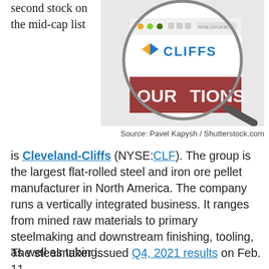second stock on the mid-cap list
[Figure (photo): Screenshot of Cleveland-Cliffs website shown through a magnifying glass, displaying the Cliffs logo and partial website content with text 'OUR TIONS']
Source: Pavel Kapysh / Shutterstock.com
is Cleveland-Cliffs (NYSE:CLF). The group is the largest flat-rolled steel and iron ore pellet manufacturer in North America. The company runs a vertically integrated business. It ranges from mined raw materials to primary steelmaking and downstream finishing, tooling, as well as tubing.
The steelmaker issued Q4, 2021 results on Feb. 11.